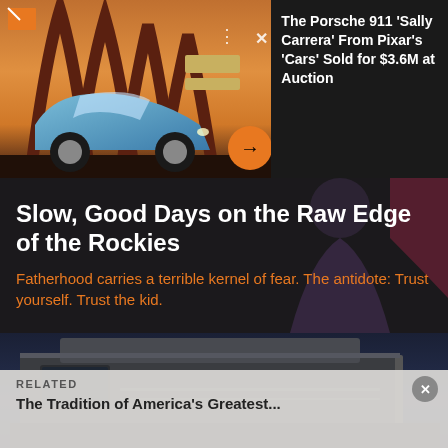[Figure (photo): A blue Porsche 911 sports car parked near large arch structures at sunset/dusk with an orange sky. An orange circular arrow button overlaid bottom-right. Small dots and X icons at top right. A logo icon at top left.]
The Porsche 911 'Sally Carrera' From Pixar's 'Cars' Sold for $3.6M at Auction
Slow, Good Days on the Raw Edge of the Rockies
Fatherhood carries a terrible kernel of fear. The antidote: Trust yourself. Trust the kid.
[Figure (photo): A truck camper photographed from below against a dark blue evening sky. The camper's pop-up roof and windows are visible.]
RELATED
The Tradition of America's Greatest...